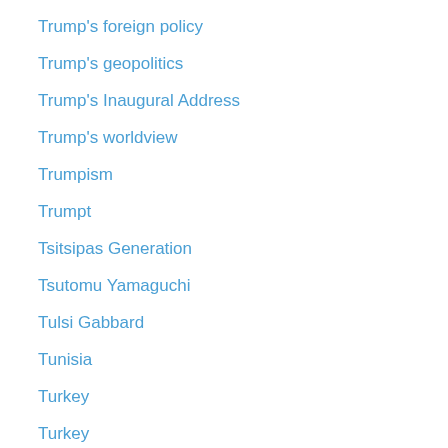Trump's foreign policy
Trump's geopolitics
Trump's Inaugural Address
Trump's worldview
Trumpism
Trumpt
Tsitsipas Generation
Tsutomu Yamaguchi
Tulsi Gabbard
Tunisia
Turkey
Turkey
Turkey-Yemen
Turkish Coup Attempt
Turkish domestic politics
Turkish Elections
Turkish Electiuons
Turkish foreign policy
Turkish leadership
Turkish Municipoal Elections